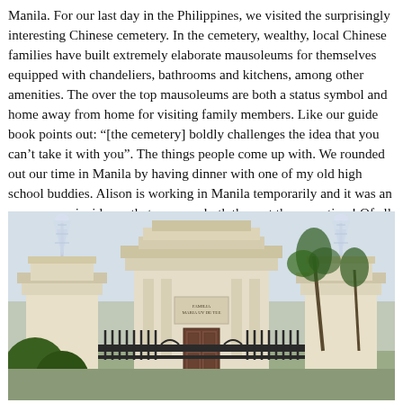Manila. For our last day in the Philippines, we visited the surprisingly interesting Chinese cemetery. In the cemetery, wealthy, local Chinese families have built extremely elaborate mausoleums for themselves equipped with chandeliers, bathrooms and kitchens, among other amenities. The over the top mausoleums are both a status symbol and home away from home for visiting family members. Like our guide book points out: “[the cemetery] boldly challenges the idea that you can’t take it with you”. The things people come up with. We rounded out our time in Manila by having dinner with one of my old high school buddies. Alison is working in Manila temporarily and it was an awesome coincidence that we were both there at the same time! Of all the places to catch up with old friends 😃
[Figure (photo): Photo of an elaborate mausoleum at the Chinese Cemetery in Manila, Philippines. The structure is white/cream colored with classical architectural details, a central gate with ornate ironwork, and two large crystal chandelier-like ornaments on either side. A plaque reads 'FAMILIA MARIA UY DE TEE'. Palm trees and other greenery are visible in the background.]